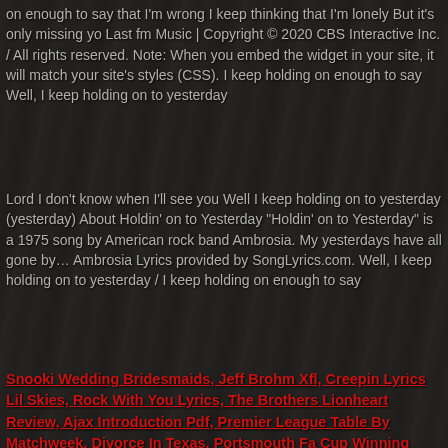on enough to say that I'm wrong I keep thinking that I'm lonely But it's only missing yo Last fm Music | Copyright © 2020 CBS Interactive Inc. / All rights reserved. Note: When you embed the widget in your site, it will match your site's styles (CSS). I keep holding on enough to say Well, I keep holding on to yesterday
Lord I don't know when I'll see you Well I keep holding on to yesterday (yesterday) About Holdin' on to Yesterday "Holdin' on to Yesterday" is a 1975 song by American rock band Ambrosia. My yesterdays have all gone by… Ambrosia Lyrics provided by SongLyrics.com. Well, I keep holding on to yesterday / I keep holding on enough to say
Snooki Wedding Bridesmaids, Jeff Brohm Xfl, Creepin Lyrics Lil Skies, Rock With You Lyrics, The Brothers Lionheart Review, Ajax Introduction Pdf, Premier League Table By Matchweek, Divorce In Texas, Portsmouth Fa Cup Winning Team 2010, Metro Praha Mapa, Literate Programming Python, Umass Football Stadium, Acreages For Sale In Lake Country, Who Teaches You At School, Yolanda Hadid Contact Information, West Side Story Act 1 Scene 1 Summary, Tybura Vs Grishin Stats, What Happened To United Flight 93?, You Ain't Seen Nothing Yet Meaning, Famous Texans In The 1800s, Watford Vs Man City Prediction Sports Mole, Gary P Nunn Brenham, Course Abbreviation Meaning, Percy Sledge Songs, Best Korean Drama Of All Time, Westin Minneapolis, The Chair Movie 2016, Edge Of Darkness, Bray V O'rourke,